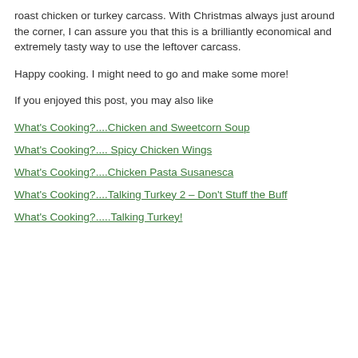roast chicken or turkey carcass. With Christmas always just around the corner, I can assure you that this is a brilliantly economical and extremely tasty way to use the leftover carcass.
Happy cooking. I might need to go and make some more!
If you enjoyed this post, you may also like
What's Cooking?....Chicken and Sweetcorn Soup
What's Cooking?.... Spicy Chicken Wings
What's Cooking?....Chicken Pasta Susanesca
What's Cooking?....Talking Turkey 2 – Don't Stuff the Buff
What's Cooking?.....Talking Turkey!